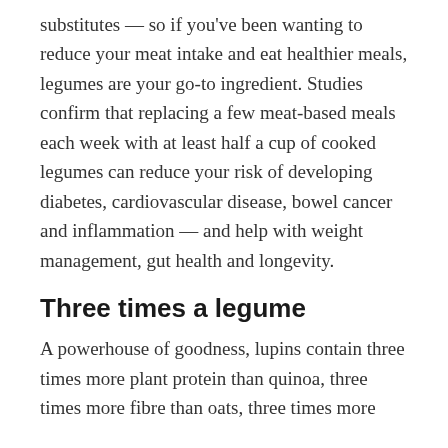substitutes — so if you've been wanting to reduce your meat intake and eat healthier meals, legumes are your go-to ingredient. Studies confirm that replacing a few meat-based meals each week with at least half a cup of cooked legumes can reduce your risk of developing diabetes, cardiovascular disease, bowel cancer and inflammation — and help with weight management, gut health and longevity.
Three times a legume
A powerhouse of goodness, lupins contain three times more plant protein than quinoa, three times more fibre than oats, three times more